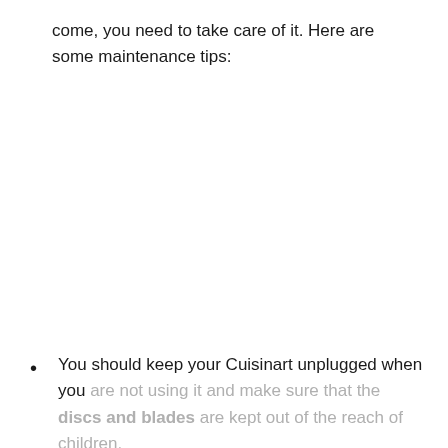come, you need to take care of it. Here are some maintenance tips:
You should keep your Cuisinart unplugged when you are not using it and make sure that the discs and blades are kept out of the reach of children.